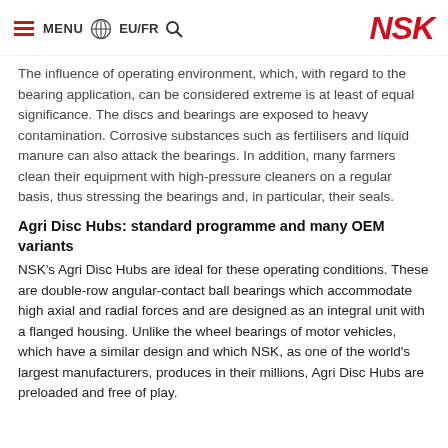MENU EU/FR NSK
The influence of operating environment, which, with regard to the bearing application, can be considered extreme is at least of equal significance. The discs and bearings are exposed to heavy contamination. Corrosive substances such as fertilisers and liquid manure can also attack the bearings. In addition, many farmers clean their equipment with high-pressure cleaners on a regular basis, thus stressing the bearings and, in particular, their seals.
Agri Disc Hubs: standard programme and many OEM variants
NSK's Agri Disc Hubs are ideal for these operating conditions. These are double-row angular-contact ball bearings which accommodate high axial and radial forces and are designed as an integral unit with a flanged housing. Unlike the wheel bearings of motor vehicles, which have a similar design and which NSK, as one of the world's largest manufacturers, produces in their millions, Agri Disc Hubs are preloaded and free of play.